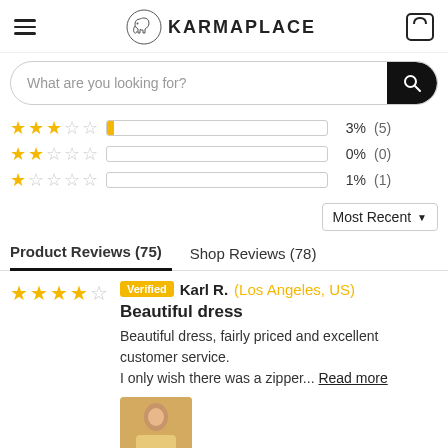KARMAPLACE
What are you looking for?
3% (5)
0% (0)
1% (1)
Most Recent
Product Reviews (75)  Shop Reviews (78)
Verified  Karl R. (Los Angeles, US)
Beautiful dress
Beautiful dress, fairly priced and excellent customer service.
I only wish there was a zipper... Read more
[Figure (photo): Thumbnail photo of a person wearing a dress]